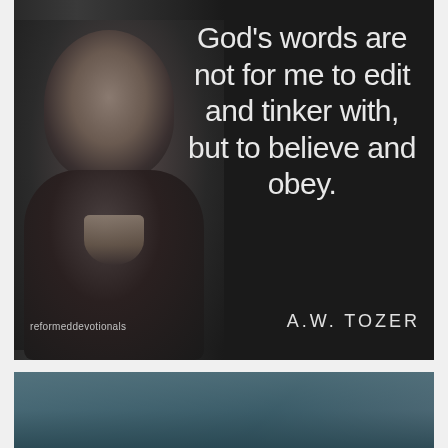[Figure (photo): Dark-toned quote card with portrait photo of A.W. Tozer on the left (black and white, young man in suit and collar), dark near-black background, large light-colored thin-font quote text on the right side]
God's words are not for me to edit and tinker with, but to believe and obey.
A.W. TOZER
reformeddevotionals
[Figure (photo): Teal/blue-green gradient landscape or background image, partially visible at the bottom of the page]